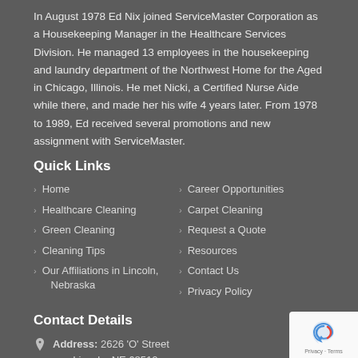In August 1978 Ed Nix joined ServiceMaster Corporation as a Housekeeping Manager in the Healthcare Services Division. He managed 13 employees in the housekeeping and laundry department of the Northwest Home for the Aged in Chicago, Illinois. He met Nicki, a Certified Nurse Aide while there, and made her his wife 4 years later. From 1978 to 1989, Ed received several promotions and new assignment with ServiceMaster.
Quick Links
Home
Career Opportunities
Healthcare Cleaning
Carpet Cleaning
Green Cleaning
Request a Quote
Cleaning Tips
Resources
Our Affiliations in Lincoln, Nebraska
Contact Us
Privacy Policy
Contact Details
Address: 2626 'O' Street Lincoln, NE 68510